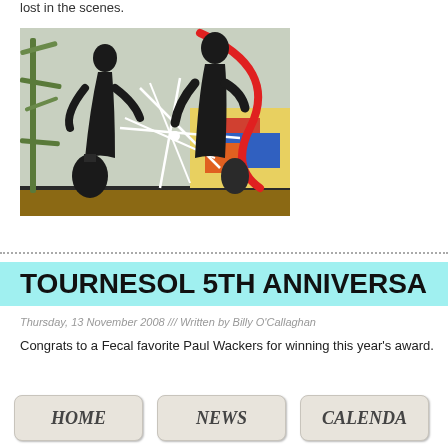lost in the scenes.
[Figure (photo): Artwork photograph showing a mixed media painting with black silhouette figures, red curved strokes, white geometric star/web shapes, bamboo plant, and colorful collaged elements on a shelf/ledge.]
Read more...
TOURNESOL 5TH ANNIVERSARY
Thursday, 13 November 2008 /// Written by Billy O'Callaghan
Congrats to a Fecal favorite Paul Wackers for winning this year's award.
HOME
NEWS
CALENDA